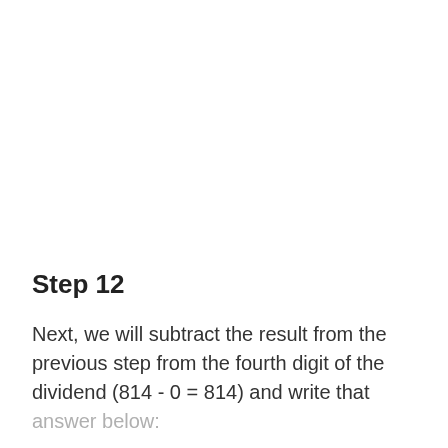Step 12
Next, we will subtract the result from the previous step from the fourth digit of the dividend (814 - 0 = 814) and write that answer below: